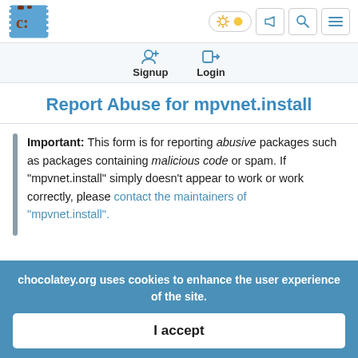Chocolatey header with logo, theme toggle, megaphone, search, and menu icons
Signup  Login
Report Abuse for mpvnet.install
Important: This form is for reporting abusive packages such as packages containing malicious code or spam. If "mpvnet.install" simply doesn't appear to work or work correctly, please contact the maintainers of "mpvnet.install".
chocolatey.org uses cookies to enhance the user experience of the site.
I accept